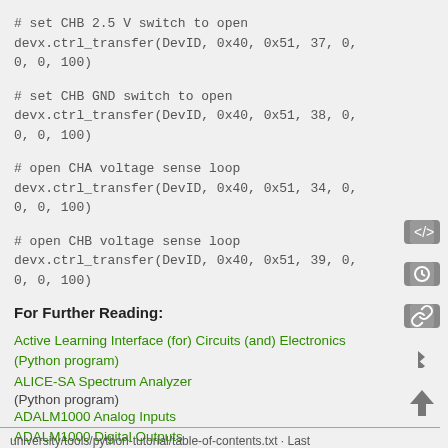# set CHB 2.5 V switch to open
devx.ctrl_transfer(DevID, 0x40, 0x51, 37, 0, 0, 0, 100)
# set CHB GND switch to open
devx.ctrl_transfer(DevID, 0x40, 0x51, 38, 0, 0, 0, 100)
# open CHA voltage sense loop
devx.ctrl_transfer(DevID, 0x40, 0x51, 34, 0, 0, 0, 100)
# open CHB voltage sense loop
devx.ctrl_transfer(DevID, 0x40, 0x51, 39, 0, 0, 0, 100)
For Further Reading:
Active Learning Interface (for) Circuits (and) Electronics (Python program)
ALICE-SA Spectrum Analyzer (Python program)
ADALM1000 Analog Inputs
ADALM1000 Digital Outputs
Return to ALM Table of Contents
university/tools/python-tutorial/table-of-contents.txt · Last